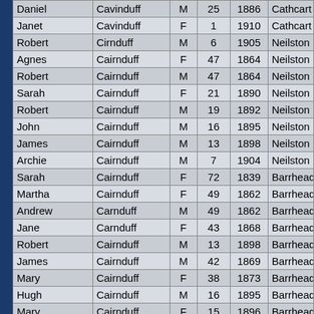| First Name | Surname | Sex | Age | Year | Place |
| --- | --- | --- | --- | --- | --- |
| Daniel | Cavinduff | M | 25 | 1886 | Cathcart (La… |
| Janet | Cavinduff | F | 1 | 1910 | Cathcart (La… |
| Robert | Cirnduff | M | 6 | 1905 | Neilston |
| Agnes | Cairnduff | F | 47 | 1864 | Neilston |
| Robert | Cairnduff | M | 47 | 1864 | Neilston |
| Sarah | Cairnduff | F | 21 | 1890 | Neilston |
| Robert | Cairnduff | M | 19 | 1892 | Neilston |
| John | Cairnduff | M | 16 | 1895 | Neilston |
| James | Cairnduff | M | 13 | 1898 | Neilston |
| Archie | Cairnduff | M | 7 | 1904 | Neilston |
| Sarah | Cairnduff | F | 72 | 1839 | Barrhead An… |
| Martha | Cairnduff | F | 49 | 1862 | Barrhead An… |
| Andrew | Carnduff | M | 49 | 1862 | Barrhead An… |
| Jane | Carnduff | F | 43 | 1868 | Barrhead An… |
| Robert | Cairnduff | M | 13 | 1898 | Barrhead An… |
| James | Cairnduff | M | 42 | 1869 | Barrhead An… |
| Mary | Cairnduff | F | 38 | 1873 | Barrhead An… |
| Hugh | Cairnduff | M | 16 | 1895 | Barrhead An… |
| Mary | Cairnduff | F | 15 | 1896 | Barrhead An… |